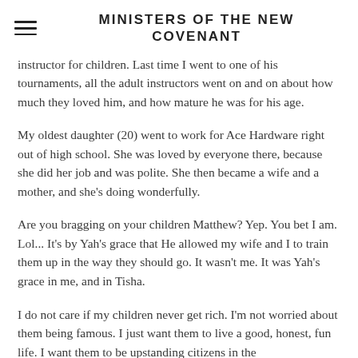MINISTERS OF THE NEW COVENANT
instructor for children. Last time I went to one of his tournaments, all the adult instructors went on and on about how much they loved him, and how mature he was for his age.
My oldest daughter (20) went to work for Ace Hardware right out of high school. She was loved by everyone there, because she did her job and was polite. She then became a wife and a mother, and she's doing wonderfully.
Are you bragging on your children Matthew? Yep. You bet I am. Lol... It's by Yah's grace that He allowed my wife and I to train them up in the way they should go. It wasn't me. It was Yah's grace in me, and in Tisha.
I do not care if my children never get rich. I'm not worried about them being famous. I just want them to live a good, honest, fun life. I want them to be upstanding citizens in the